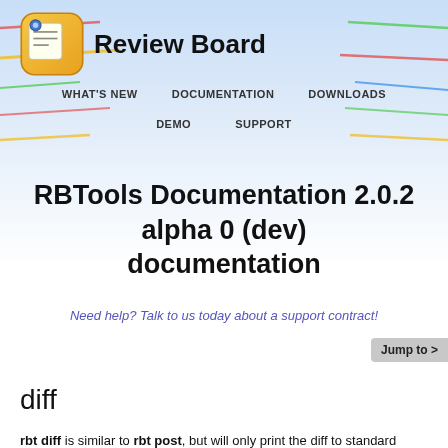Review Board — WHAT'S NEW | DOCUMENTATION | DOWNLOADS | DEMO | SUPPORT
RBTools Documentation 2.0.2 alpha 0 (dev) documentation
Need help? Talk to us today about a support contract!
diff
rbt diff is similar to rbt post, but will only print the diff to standard